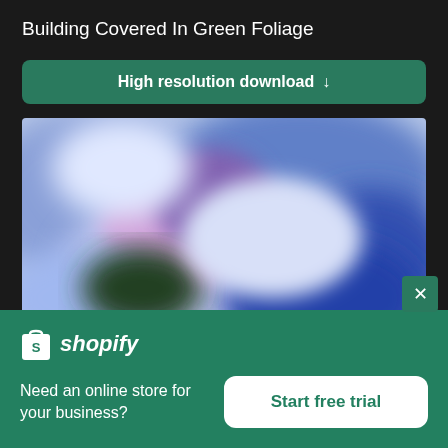Building Covered In Green Foliage
High resolution download ↓
[Figure (photo): Blurred abstract image showing blue and purple foliage tones, representing a blurred/watermarked preview of a building covered in green foliage]
× (close button)
[Figure (logo): Shopify logo - white shopping bag icon with 'S' and italic 'shopify' text in white]
Need an online store for your business?
Start free trial